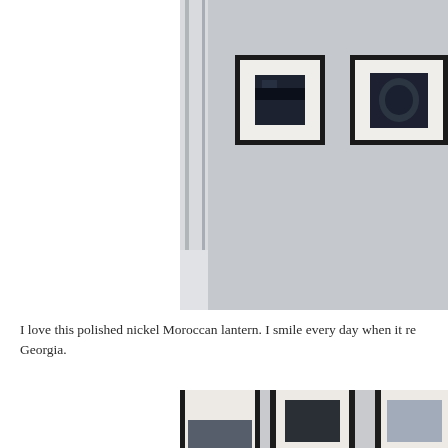[Figure (photo): Interior room photo showing two black-framed artwork photographs hanging on a light gray wall, with a window visible on the left side letting in natural light.]
I love this polished nickel Moroccan lantern. I smile every day when it re... Georgia.
[Figure (photo): Close-up interior photo showing multiple black-framed artwork photographs arranged on a light wall, partially cropped at the bottom of the page.]